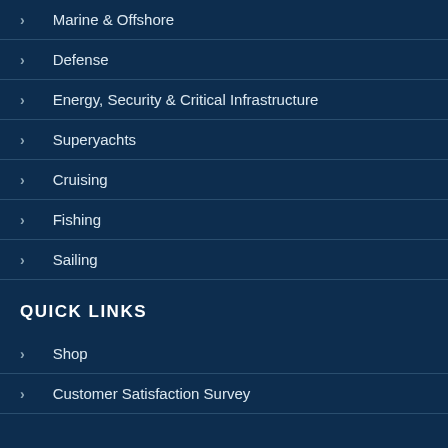Marine & Offshore
Defense
Energy, Security & Critical Infrastructure
Superyachts
Cruising
Fishing
Sailing
QUICK LINKS
Shop
Customer Satisfaction Survey